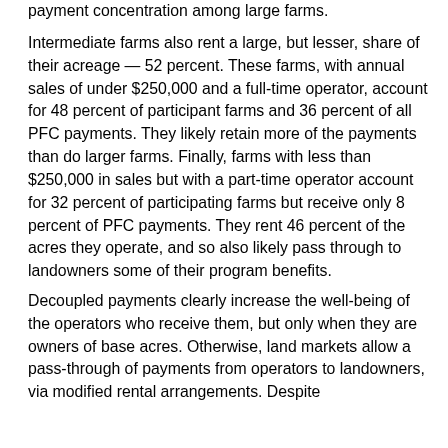payment concentration among large farms.
Intermediate farms also rent a large, but lesser, share of their acreage — 52 percent. These farms, with annual sales of under $250,000 and a full-time operator, account for 48 percent of participant farms and 36 percent of all PFC payments. They likely retain more of the payments than do larger farms. Finally, farms with less than $250,000 in sales but with a part-time operator account for 32 percent of participating farms but receive only 8 percent of PFC payments. They rent 46 percent of the acres they operate, and so also likely pass through to landowners some of their program benefits.
Decoupled payments clearly increase the well-being of the operators who receive them, but only when they are owners of base acres. Otherwise, land markets allow a pass-through of payments from operators to landowners, via modified rental arrangements. Despite